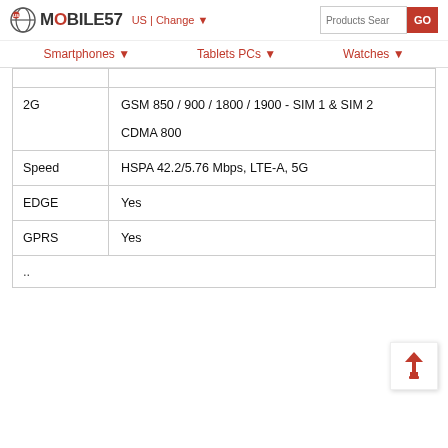MOBILE57 US | Change ▼  Products Search GO
Smartphones ▼   Tablets PCs ▼   Watches ▼
| Feature | Details |
| --- | --- |
|  |  |
| 2G | GSM 850 / 900 / 1800 / 1900 - SIM 1 & SIM 2

CDMA 800 |
| Speed | HSPA 42.2/5.76 Mbps, LTE-A, 5G |
| EDGE | Yes |
| GPRS | Yes |
| .. |  |